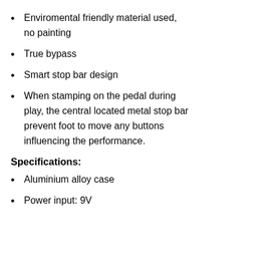Enviromental friendly material used, no painting
True bypass
Smart stop bar design
When stamping on the pedal during play, the central located metal stop bar prevent foot to move any buttons influencing the performance.
Specifications:
Aluminium alloy case
Power input: 9V